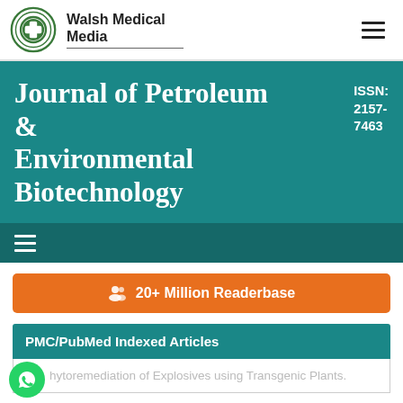Walsh Medical Media
Journal of Petroleum & Environmental Biotechnology
ISSN: 2157-7463
[Figure (other): Hamburger menu icon (three horizontal lines) in teal navigation bar]
[Figure (other): Orange button with person/readers icon and text '20+ Million Readerbase']
PMC/PubMed Indexed Articles
hytoremediation of Explosives using Transgenic Plants.
[Figure (logo): WhatsApp chat bubble icon, green circle with chat icon]